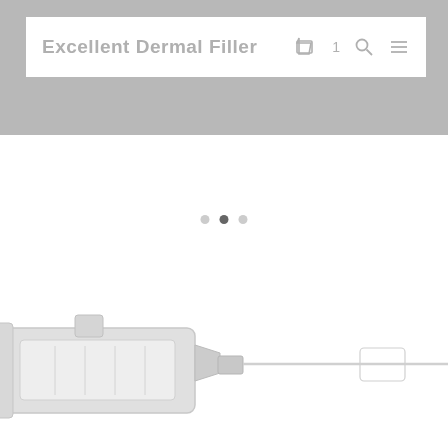[Figure (screenshot): Website screenshot of 'Excellent Dermal Filler' e-commerce page with navigation bar showing logo text, shopping cart icon with count '1', search icon, and hamburger menu icon on white nav bar against gray hero banner background]
[Figure (other): Carousel navigation dots — three dots with the middle one active (dark gray), flanking dots light gray]
[Figure (photo): Product photo of a dermal filler syringe/needle device shown at lower left portion of the page, partially cropped, light gray tones against white background]